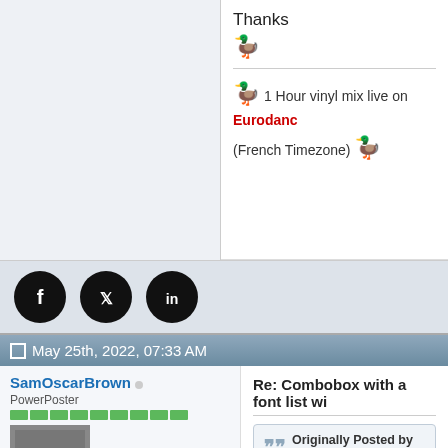Thanks 🦆
🦆 1 Hour vinyl mix live on Eurodance (French Timezone) 🦆
[Figure (other): Social media icons: Facebook, Twitter, LinkedIn as black circular buttons]
May 25th, 2022, 07:33 AM
Re: Combobox with a font list wi...
SamOscarBrown
PowerPoster
|  |  |
| --- | --- |
| Join Date: | Aug 2012 |
| Location: | NC, USA |
| Posts: | 8,341 |
Originally Posted by Steve G
The Zip file in #2 opens ok with Windows.
I see.....
Looks like what the OP is looking for...